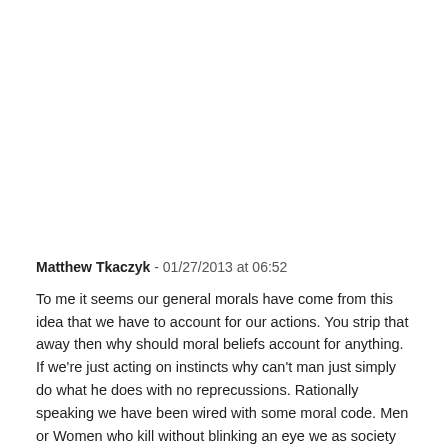Matthew Tkaczyk - 01/27/2013 at 06:52
To me it seems our general morals have come from this idea that we have to account for our actions. You strip that away then why should moral beliefs account for anything. If we're just acting on instincts why can't man just simply do what he does with no reprecussions. Rationally speaking we have been wired with some moral code. Men or Women who kill without blinking an eye we as society deem them mentally ill. But wait why should we we're all